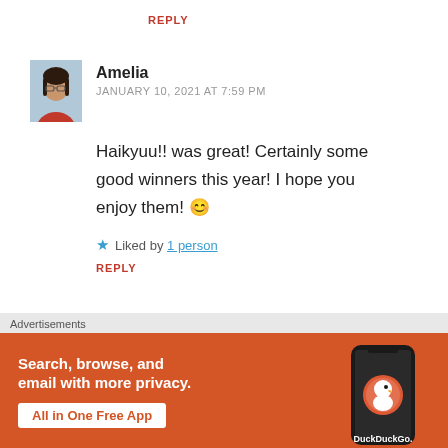REPLY
Amelia
JANUARY 10, 2021 AT 7:59 PM
Haikyuu!! was great! Certainly some good winners this year! I hope you enjoy them! 😊
★ Liked by 1 person
REPLY
Advertisements
[Figure (infographic): DuckDuckGo advertisement banner in orange. Text reads: Search, browse, and email with more privacy. All in One Free App. Shows a phone with DuckDuckGo logo and the DuckDuckGo wordmark.]